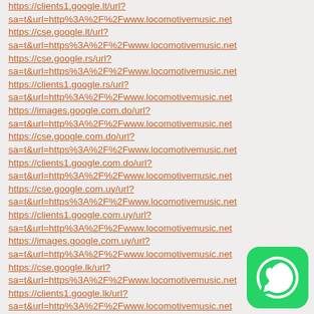https://clients1.google.lt/url?
sa=t&url=http%3A%2F%2Fwww.locomotivemusic.net
https://cse.google.lt/url?
sa=t&url=https%3A%2F%2Fwww.locomotivemusic.net
https://cse.google.rs/url?
sa=t&url=https%3A%2F%2Fwww.locomotivemusic.net
https://clients1.google.rs/url?
sa=t&url=http%3A%2F%2Fwww.locomotivemusic.net
https://images.google.com.do/url?
sa=t&url=http%3A%2F%2Fwww.locomotivemusic.net
https://cse.google.com.do/url?
sa=t&url=https%3A%2F%2Fwww.locomotivemusic.net
https://clients1.google.com.do/url?
sa=t&url=http%3A%2F%2Fwww.locomotivemusic.net
https://cse.google.com.uy/url?
sa=t&url=https%3A%2F%2Fwww.locomotivemusic.net
https://clients1.google.com.uy/url?
sa=t&url=http%3A%2F%2Fwww.locomotivemusic.net
https://images.google.com.uy/url?
sa=t&url=http%3A%2F%2Fwww.locomotivemusic.net
https://cse.google.lk/url?
sa=t&url=https%3A%2F%2Fwww.locomotivemusic.net
https://clients1.google.lk/url?
sa=t&url=http%3A%2F%2Fwww.locomotivemusic.net
https://images.google.lk/url?
sa=t&url=https%3A%2F%2Fwww.locomotivemusic.net